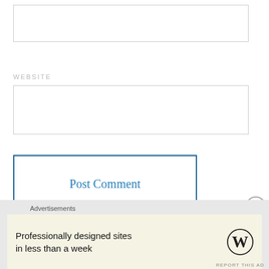[Figure (screenshot): Empty text input box with light gray border at top of page]
WEBSITE
[Figure (screenshot): Empty website input box with light gray border]
Post Comment
NOTIFY ME OF NEW COMMENTS VIA EMAIL.
NOTIFY ME OF NEW POSTS VIA EMAIL.
Advertisements
Professionally designed sites in less than a week